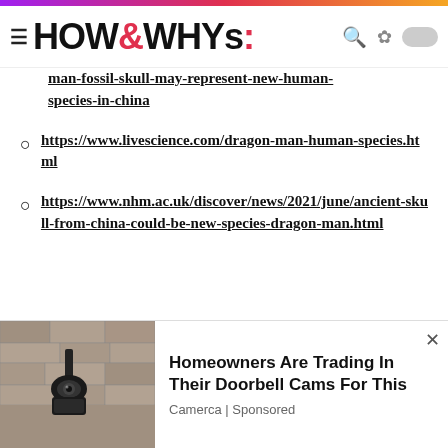HOW&WHYs
man-fossil-skull-may-represent-new-human-species-in-china
https://www.livescience.com/dragon-man-human-species.html
https://www.nhm.ac.uk/discover/news/2021/june/ancient-skull-from-china-could-be-new-species-dragon-man.html
[Figure (photo): Outdoor security camera mounted on a stone wall, shown in an advertisement banner]
Homeowners Are Trading In Their Doorbell Cams For This
Camerca | Sponsored